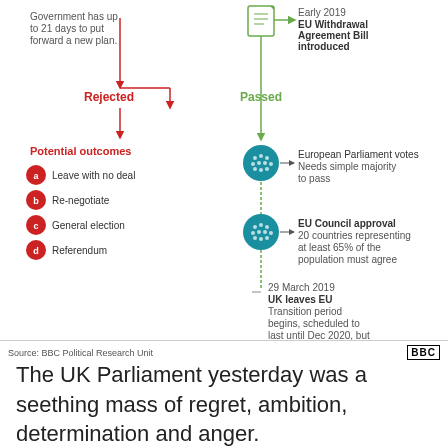[Figure (flowchart): Flowchart showing UK Brexit withdrawal agreement bill process. Left branch (red): Rejected path leading to Potential outcomes: a) Leave with no deal, b) Re-negotiate, c) General election, d) Referendum, with note 'Government has up to 21 days to put forward a new plan.' Right branch (green): Early 2019 EU Withdrawal Agreement Bill introduced, Passed path leading to European Parliament votes (needs simple majority to pass), EU Council approval (20 countries representing at least 65% of the population must agree), then 29 March 2019 UK leaves EU, Transition period begins scheduled to last until Dec 2020 but could be extended.]
Source: BBC Political Research Unit
The UK Parliament yesterday was a seething mass of regret, ambition, determination and anger.